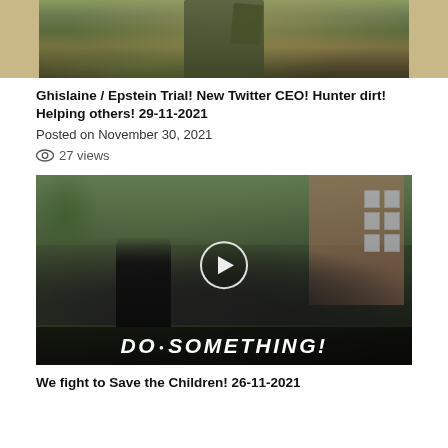[Figure (photo): Cropped photo of a soldier in military camouflage uniform, appears to be carrying something, taken outdoors with grass/dirt background. Only the torso/lower body visible as the image is cropped at the top.]
Ghislaine / Epstein Trial! New Twitter CEO! Hunter dirt! Helping others! 29-11-2021
Posted on November 30, 2021
27 views
[Figure (photo): Video thumbnail showing a crowd of people at what appears to be an outdoor protest or rally. A man in a black t-shirt is visible in the foreground raising his hand. A building is visible in the background on the right. A play button is overlaid in the center. Text overlay at the bottom reads 'DO SOMETHING!']
We fight to Save the Children! 26-11-2021